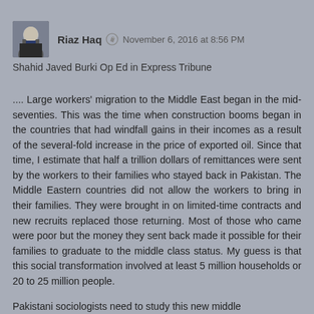[Figure (photo): Avatar photo of Riaz Haq, a man in a suit]
Riaz Haq   November 6, 2016 at 8:56 PM
Shahid Javed Burki Op Ed in Express Tribune
.... Large workers' migration to the Middle East began in the mid-seventies. This was the time when construction booms began in the countries that had windfall gains in their incomes as a result of the several-fold increase in the price of exported oil. Since that time, I estimate that half a trillion dollars of remittances were sent by the workers to their families who stayed back in Pakistan. The Middle Eastern countries did not allow the workers to bring in their families. They were brought in on limited-time contracts and new recruits replaced those returning. Most of those who came were poor but the money they sent back made it possible for their families to graduate to the middle class status. My guess is that this social transformation involved at least 5 million households or 20 to 25 million people.
Pakistani sociologists need to study this new middle